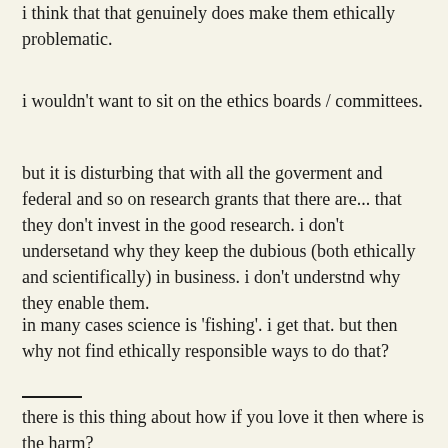i think that that genuinely does make them ethically problematic.
i wouldn't want to sit on the ethics boards / committees.
but it is disturbing that with all the goverment and federal and so on research grants that there are... that they don't invest in the good research. i don't undersetand why they keep the dubious (both ethically and scientifically) in business. i don't understnd why they enable them.
in many cases science is 'fishing'. i get that. but then why not find ethically responsible ways to do that?
there is this thing about how if you love it then where is the harm?
say some rich harvard cell biologist decides to implant a gene knockout embryo she made herself to 'see what would happen' or to see if particular things... maybe short stature... maybe pointy ears... maybe intellectual handicap. maybe heart defect... could be induced. just